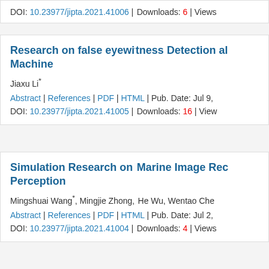DOI: 10.23977/jipta.2021.41006 | Downloads: 6 | Views…
Research on false eyewitness Detection al… Machine
Jiaxu Li*
Abstract | References | PDF | HTML | Pub. Date: Jul 9,…
DOI: 10.23977/jipta.2021.41005 | Downloads: 16 | View…
Simulation Research on Marine Image Rec… Perception
Mingshuai Wang*, Mingjie Zhong, He Wu, Wentao Che…
Abstract | References | PDF | HTML | Pub. Date: Jul 2,…
DOI: 10.23977/jipta.2021.41004 | Downloads: 4 | Views…